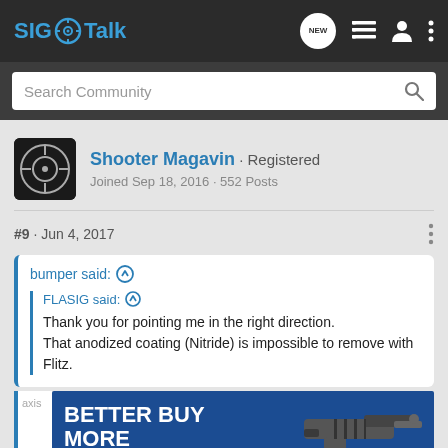SIG Talk
Search Community
Shooter Magavin · Registered
Joined Sep 18, 2016 · 552 Posts
#9 · Jun 4, 2017
bumper said: ↑
FLASIG said: ↑
Thank you for pointing me in the right direction.
That anodized coating (Nitride) is impossible to remove with Flitz.
[Figure (screenshot): BETTER BUY MORE advertisement banner with image of a handgun on blue background]